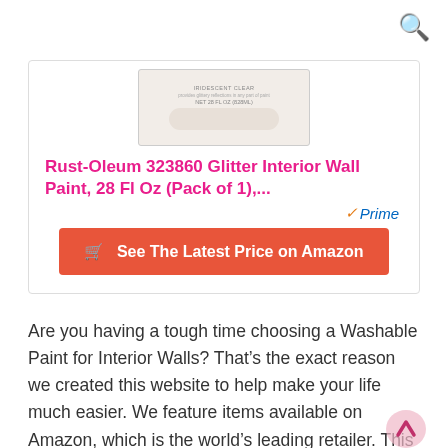[Figure (screenshot): Search icon (magnifying glass) in top right corner]
[Figure (photo): Product image of Rust-Oleum 323860 Glitter Interior Wall Paint container, top view showing label reading IRIDESCENT CLEAR, NET 28 FL OZ (828ML)]
Rust-Oleum 323860 Glitter Interior Wall Paint, 28 Fl Oz (Pack of 1),...
[Figure (logo): Amazon Prime badge with orange checkmark and blue italic Prime text]
See The Latest Price on Amazon
Are you having a tough time choosing a Washable Paint for Interior Walls? That’s the exact reason we created this website to help make your life much easier. We feature items available on Amazon, which is the world’s leading retailer. This means you never have to worry about your items not arriving. Amazon has great customer service, and you as a customer need to know you can trust the seller.